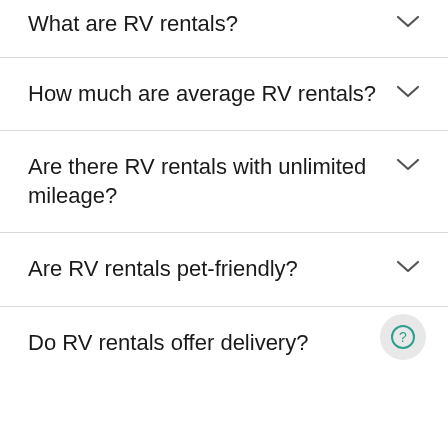What are RV rentals?
How much are average RV rentals?
Are there RV rentals with unlimited mileage?
Are RV rentals pet-friendly?
Do RV rentals offer delivery?